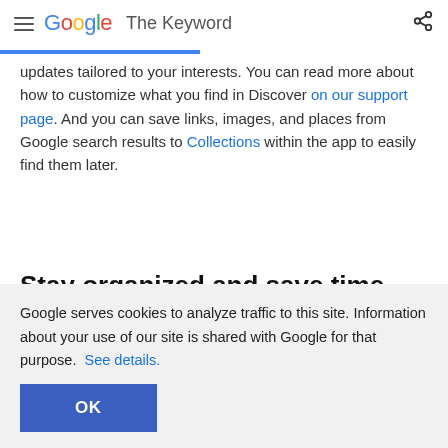Google The Keyword
updates tailored to your interests. You can read more about how to customize what you find in Discover on our support page. And you can save links, images, and places from Google search results to Collections within the app to easily find them later.
Stay organized and save time
With the Google app, you can knock out important tasks quickly
Google serves cookies to analyze traffic to this site. Information about your use of our site is shared with Google for that purpose.  See details.
OK